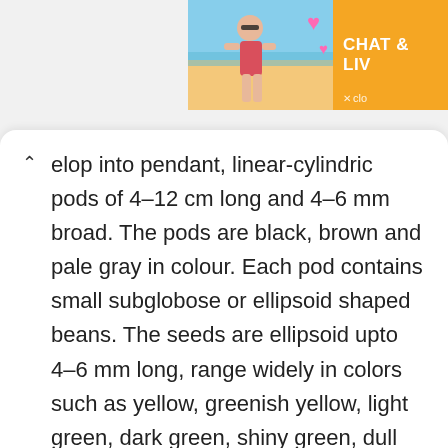[Figure (photo): Partial advertisement banner in top right showing a woman in a red bikini on a beach with pink heart emojis, and an orange panel with text 'CHAT & LIV' (truncated) and a close button.]
elop into pendant, linear-cylindric pods of 4–12 cm long and 4–6 mm broad. The pods are black, brown and pale gray in colour. Each pod contains small subglobose or ellipsoid shaped beans. The seeds are ellipsoid upto 4–6 mm long, range widely in colors such as yellow, greenish yellow, light green, dark green, shiny green, dull green, brown, black and green often mottled with black. The seeds have got lustrous and unpolished dark green skin with light yellow flesh. The seed flavors sweet and